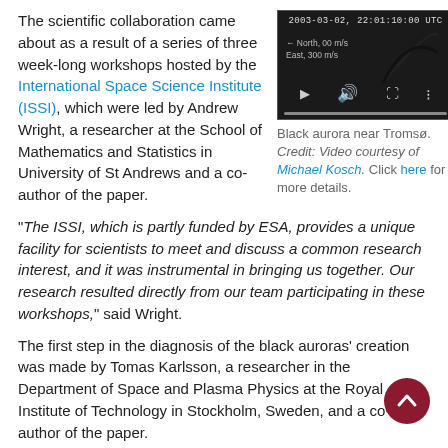The scientific collaboration came about as a result of a series of three week-long workshops hosted by the International Space Science Institute (ISSI), which were led by Andrew Wright, a researcher at the School of Mathematics and Statistics in University of St Andrews and a co-author of the paper.
[Figure (screenshot): Video screenshot showing black aurora near Tromsø with timestamp 2003-03-02, 22:01:10:00 UTC, directional labels North and East with speed indicators, video player controls visible at bottom]
Black aurora near Tromsø. Credit: Video courtesy of Michael Kosch. Click here for more details.
"The ISSI, which is partly funded by ESA, provides a unique facility for scientists to meet and discuss a common research interest, and it was instrumental in bringing us together. Our research resulted directly from our team participating in these workshops," said Wright.
The first step in the diagnosis of the black auroras' creation was made by Tomas Karlsson, a researcher in the Department of Space and Plasma Physics at the Royal Institute of Technology in Stockholm, Sweden, and a co-author of the paper.
"I have been studying the Cluster data archive over many years because the four spacecraft provide multipoint measurements when they fly through a